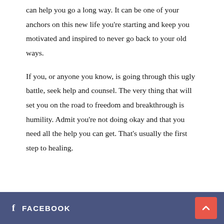can help you go a long way. It can be one of your anchors on this new life you're starting and keep you motivated and inspired to never go back to your old ways.
If you, or anyone you know, is going through this ugly battle, seek help and counsel. The very thing that will set you on the road to freedom and breakthrough is humility. Admit you're not doing okay and that you need all the help you can get. That's usually the first step to healing.
f FACEBOOK